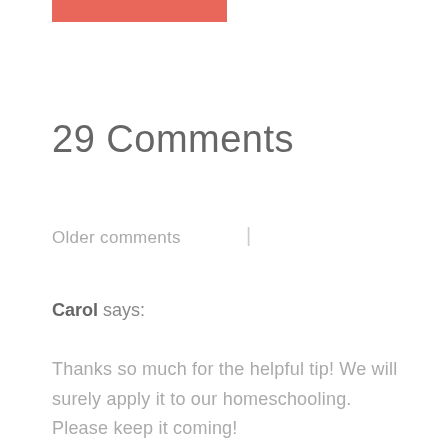[Figure (other): Red/salmon colored horizontal bar at top of page]
29 Comments
Older comments  |
Carol says:
Thanks so much for the helpful tip! We will surely apply it to our homeschooling. Please keep it coming!